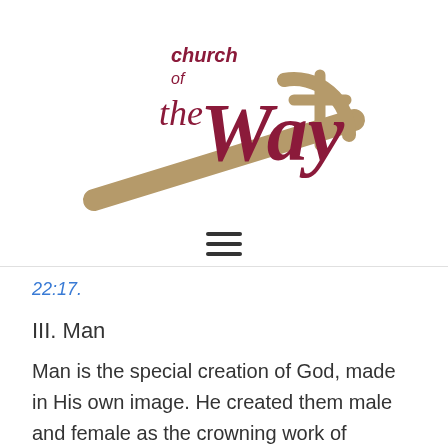[Figure (logo): Church of the Way logo with script text and cross/pen graphic in maroon and tan/gold colors]
☰
22:17.
III. Man
Man is the special creation of God, made in His own image. He created them male and female as the crowning work of